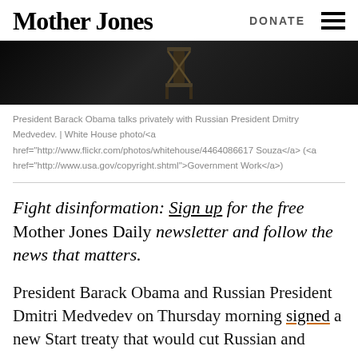Mother Jones | DONATE
[Figure (photo): Dark photograph showing what appears to be a chair or furniture piece with crossed wooden elements, set against a very dark background. This is a partial/cropped image from a larger photo.]
President Barack Obama talks privately with Russian President Dmitry Medvedev. | White House photo/<a href="http://www.flickr.com/photos/whitehouse/4464086617 Souza</a> (<a href="http://www.usa.gov/copyright.shtml">Government Work</a>)
Fight disinformation: Sign up for the free Mother Jones Daily newsletter and follow the news that matters.
President Barack Obama and Russian President Dmitri Medvedev on Thursday morning signed a new Start treaty that would cut Russian and